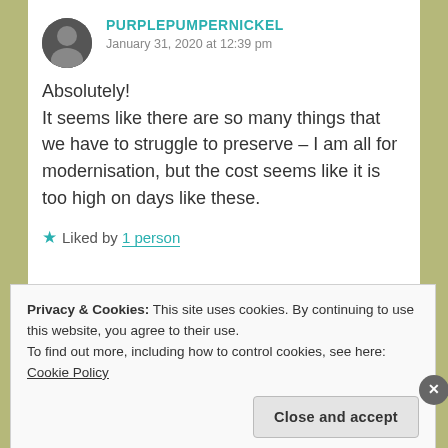PURPLEPUMPERNICKEL
January 31, 2020 at 12:39 pm
Absolutely!
It seems like there are so many things that we have to struggle to preserve – I am all for modernisation, but the cost seems like it is too high on days like these.
★ Liked by 1 person
Privacy & Cookies: This site uses cookies. By continuing to use this website, you agree to their use.
To find out more, including how to control cookies, see here: Cookie Policy
Close and accept